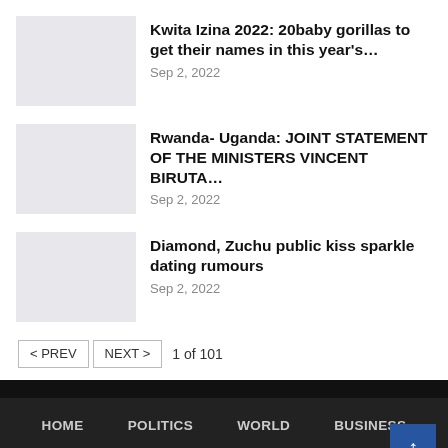Kwita Izina 2022: 20baby gorillas to get their names in this year's…
Sep 2, 2022
Rwanda- Uganda: JOINT STATEMENT OF THE MINISTERS VINCENT BIRUTA…
Sep 2, 2022
Diamond, Zuchu public kiss sparkle dating rumours
Sep 2, 2022
< PREV   NEXT >   1 of 101
HOME   POLITICS   WORLD   BUSINESS   ECONOMY   OPINION   SPORTS